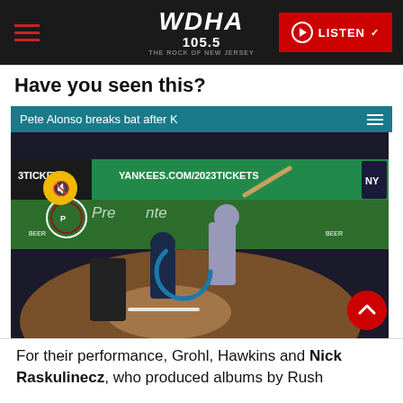WDHA 105.5 THE ROCK OF NEW JERSEY — LISTEN
Have you seen this?
[Figure (screenshot): Embedded video player showing Pete Alonso breaking a bat after a strikeout at Yankee Stadium. Video title bar reads 'Pete Alonso breaks bat after K'. Background shows Yankee Stadium outfield wall with YANKEES.COM/2023TICKETS and Presidente Beer advertisements. A muted icon (yellow circle with speaker icon) appears top-left. A loading spinner (blue partial circle) appears in the center. A red scroll-to-top button appears at bottom-right.]
For their performance, Grohl, Hawkins and Nick Raskulinecz, who produced albums by Rush